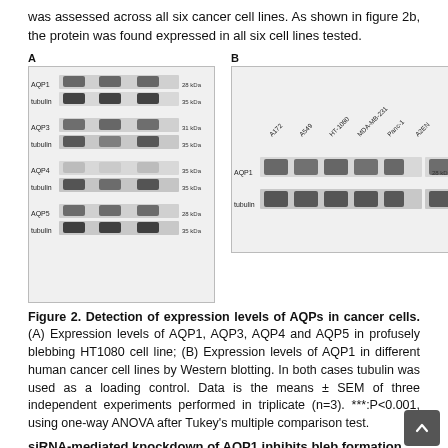was assessed across all six cancer cell lines. As shown in figure 2b, the protein was found expressed in all six cell lines tested.
[Figure (photo): Western blot image panel A showing expression levels of AQP1, tubulin, AQP3, tubulin, AQP4, tubulin, AQP5, tubulin in HT1080 cell line. Band sizes labeled: 28 kDa, 35 kDa, 31 kDa, 35 kDa, 35 kDa, 35 kDa, 28 kDa, 35 kDa.]
[Figure (photo): Western blot image panel B showing AQP1 and tubulin expression across six human cancer cell lines: A172, A549, HT-1080, MDA-MB-231, Panc-1, A2EN. Band sizes labeled: 28 kDa, 55 kDa.]
Figure 2. Detection of expression levels of AQPs in cancer cells. (A) Expression levels of AQP1, AQP3, AQP4 and AQP5 in profusely blebbing HT1080 cell line; (B) Expression levels of AQP1 in different human cancer cell lines by Western blotting. In both cases tubulin was used as a loading control. Data is the means ± SEM of three independent experiments performed in triplicate (n=3). ***:P<0.001, using one-way ANOVA after Tukey's multiple comparison test.
siRNA-mediated knockdown of AQP1 inhibits bleb formation